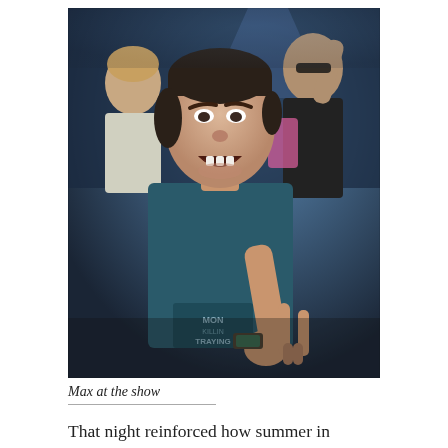[Figure (photo): A man in a dark blue t-shirt making a rock hand gesture and singing/shouting at a concert or show. Several other people are visible in the background in a dark venue with blue lighting.]
Max at the show
That night reinforced how summer in Belgrade felt quite different than the rest of the world at that moment.